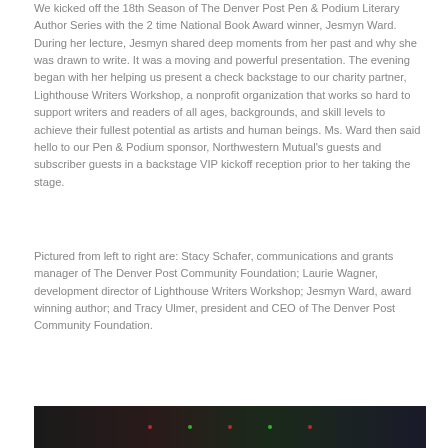We kicked off the 18th Season of The Denver Post Pen & Podium Literary Author Series with the 2 time National Book Award winner, Jesmyn Ward. During her lecture, Jesmyn shared deep moments from her past and why she was drawn to write. It was a moving and powerful presentation. The evening began with her helping us present a check backstage to our charity partner, Lighthouse Writers Workshop, a nonprofit organization that works so hard to support writers and readers of all ages, backgrounds, and skill levels to achieve their fullest potential as artists and human beings. Ms. Ward then said hello to our Pen & Podium sponsor, Northwestern Mutual's guests and subscriber guests in a backstage VIP kickoff reception prior to her taking the stage.
Pictured from left to right are: Stacy Schafer, communications and grants manager of The Denver Post Community Foundation; Laurie Wagner, development director of Lighthouse Writers Workshop; Jesmyn Ward, award winning author; and Tracy Ulmer, president and CEO of The Denver Post Community Foundation.
[Figure (photo): Dark photograph strip at the bottom of the page, showing a dimly lit scene with small red and green dots of light visible.]